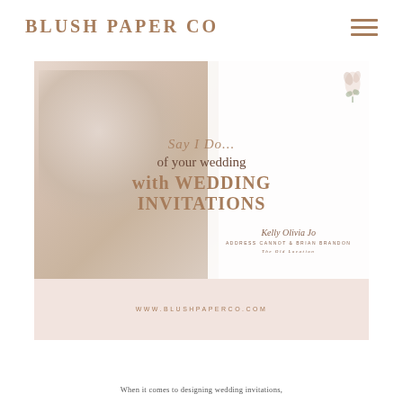BLUSH PAPER CO
[Figure (photo): Hero image banner for Blush Paper Co wedding invitations. Shows floral styled flat lay on left with white stationery cards on right. Overlaid text reads 'Say I Do... of your wedding with WEDDING INVITATIONS'. Bottom blush strip shows www.blushpaperco.com]
When it comes to designing wedding invitations,